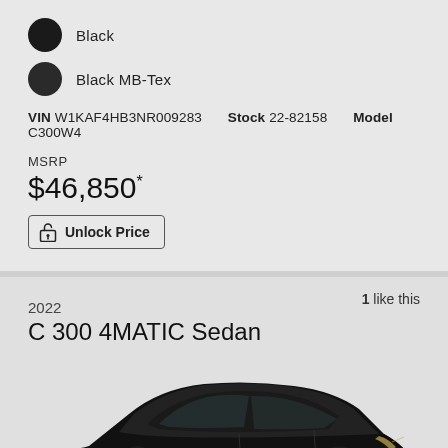Black
Black MB-Tex
VIN W1KAF4HB3NR009283   Stock 22-82158   Model C300W4
MSRP
$46,850*
Unlock Price
1 like this
2022
C 300 4MATIC Sedan
[Figure (photo): Side profile photo of a black Mercedes-Benz C 300 4MATIC Sedan on a light gray background]